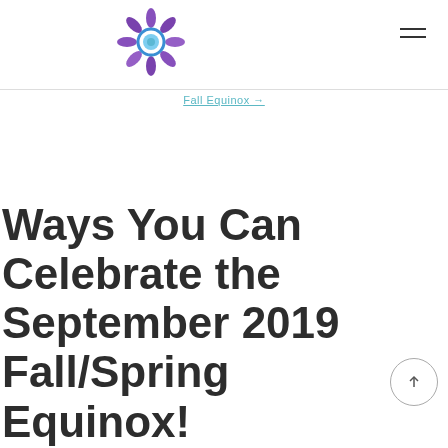Logo and navigation menu icon
Fall Equinox →
Ways You Can Celebrate the September 2019 Fall/Spring Equinox!